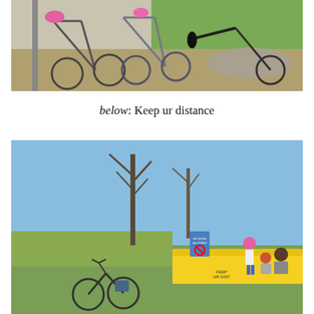[Figure (photo): Several bicycles parked near a metal rack or pole on a concrete/gravel path. The bikes have various accessories including pink helmets and bags. Green grass and a large flat rock are visible in the background under bright sunlight.]
below: Keep ur distance
[Figure (photo): Outdoor scene showing a grassy area with bare trees against a blue sky. In the foreground, a bicycle is parked near a yellow barrier. A child wearing a pink helmet stands on the yellow barrier while another child and an adult sit nearby. A 'No Dogs Allowed' sign is visible on the barrier.]